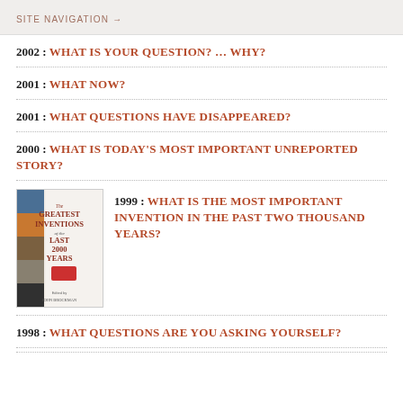SITE NAVIGATION →
2002 : WHAT IS YOUR QUESTION? … WHY?
2001 : WHAT NOW?
2001 : WHAT QUESTIONS HAVE DISAPPEARED?
2000 : WHAT IS TODAY'S MOST IMPORTANT UNREPORTED STORY?
1999 : WHAT IS THE MOST IMPORTANT INVENTION IN THE PAST TWO THOUSAND YEARS?
[Figure (illustration): Book cover: The Greatest Inventions of the Last 2000 Years]
1998 : WHAT QUESTIONS ARE YOU ASKING YOURSELF?